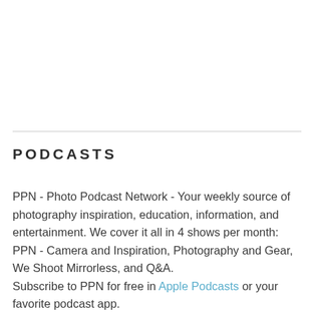PODCASTS
PPN - Photo Podcast Network - Your weekly source of photography inspiration, education, information, and entertainment. We cover it all in 4 shows per month: PPN - Camera and Inspiration, Photography and Gear, We Shoot Mirrorless, and Q&A.
Subscribe to PPN for free in Apple Podcasts or your favorite podcast app.